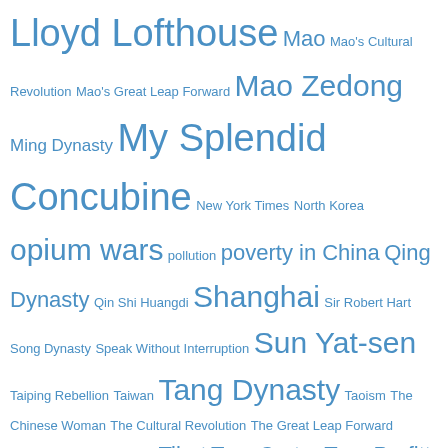Lloyd Lofthouse Mao Mao's Cultural Revolution Mao's Great Leap Forward Mao Zedong Ming Dynasty My Splendid Concubine New York Times North Korea opium wars pollution poverty in China Qing Dynasty Qin Shi Huangdi Shanghai Sir Robert Hart Song Dynasty Speak Without Interruption Sun Yat-sen Taiping Rebellion Taiwan Tang Dynasty Taoism The Chinese Woman The Cultural Revolution The Great Leap Forward Tiananmen Square Tibet Tom Carter Troy Parfitt United State United States Vietnam War Why China Will Never Rule the World World War II Xian Yuan Dynasty
Privacy & Cookies: This site uses cookies. By continuing to use this website, you agree to their use.
To find out more, including how to control cookies, see here: Cookie Policy
Close and accept
Biz Panda, Business Chinese in Black and White